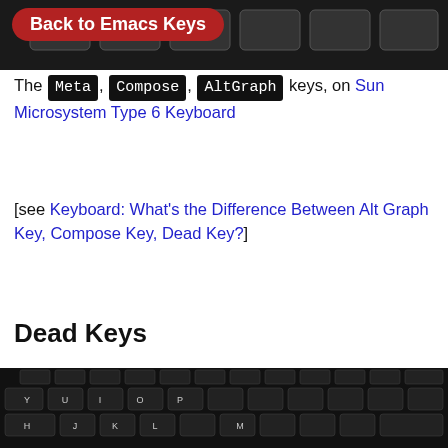[Figure (photo): Close-up photo of keyboard keys at the top of the page, dark background]
Back to Emacs Keys
The Meta, Compose, AltGraph keys, on Sun Microsystem Type 6 Keyboard
[see Keyboard: What's the Difference Between Alt Graph Key, Compose Key, Dead Key?]
Dead Keys
[Figure (photo): Photo of a dark keyboard (Mac favoris), showing keys including T, Y, H, U, J, B, K, L, M and function keys, taken from above at an angle]